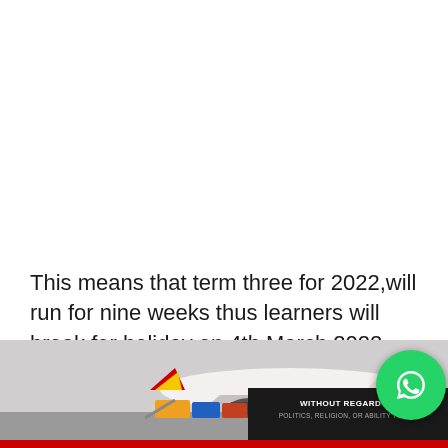This means that term three for 2022,will run for nine weeks thus learners will break for holiday on 4th March 2022 before resuming for the first term of 2022 on April 25th, a holiday that will run for nearly two months.This is unlike the earlier communicati...
[Figure (photo): Cargo airplane being loaded on a tarmac with freight containers, with an advertisement banner overlay reading 'WITHOUT REGARD TO POLITICS, RELIGION, OR ABILITY TO PAY' and a WhatsApp button in the corner]